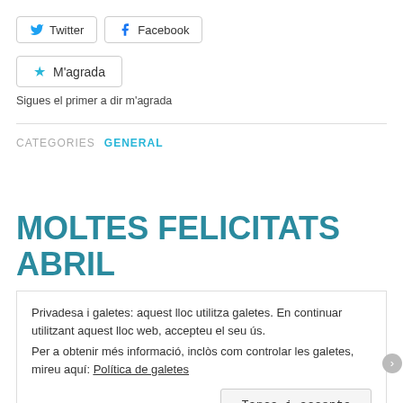[Figure (other): Social sharing buttons: Twitter and Facebook]
[Figure (other): M'agrada (Like) button with star icon]
Sigues el primer a dir m'agrada
CATEGORIES  GENERAL
MOLTES FELICITATS ABRIL
Privadesa i galetes: aquest lloc utilitza galetes. En continuar utilitzant aquest lloc web, accepteu el seu ús.
Per a obtenir més informació, inclòs com controlar les galetes, mireu aquí: Política de galetes
Tanca i accepta